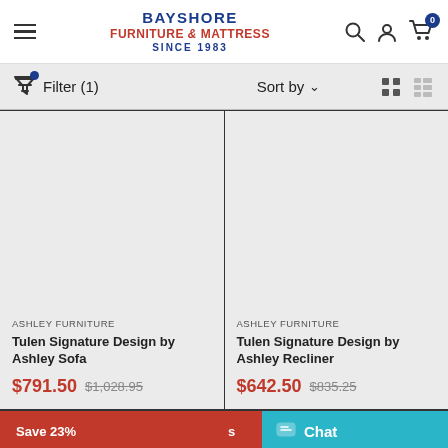BAYSHORE FURNITURE & MATTRESS SINCE 1983
Filter (1) Sort by
[Figure (screenshot): Product card: ASHLEY FURNITURE — Tulen Signature Design by Ashley Sofa — Sale $791.50, Original $1,028.95]
[Figure (screenshot): Product card: ASHLEY FURNITURE — Tulen Signature Design by Ashley Recliner — Sale $642.50, Original $835.25]
Save 23%
Chat